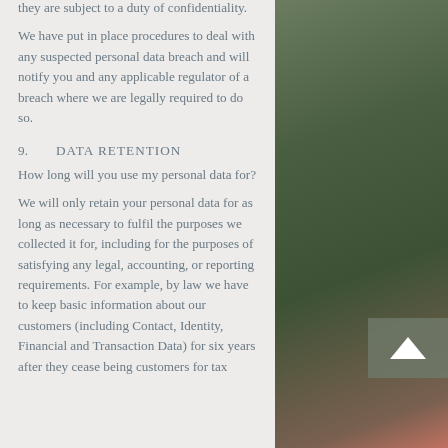they are subject to a duty of confidentiality.
We have put in place procedures to deal with any suspected personal data breach and will notify you and any applicable regulator of a breach where we are legally required to do so.
9.        DATA RETENTION
How long will you use my personal data for?
We will only retain your personal data for as long as necessary to fulfil the purposes we collected it for, including for the purposes of satisfying any legal, accounting, or reporting requirements. For example, by law we have to keep basic information about our customers (including Contact, Identity, Financial and Transaction Data) for six years after they cease being customers for tax
[Figure (photo): Outdoor photo showing green foliage and a person wearing a coral/pink outfit, partially visible on the right side of the page]